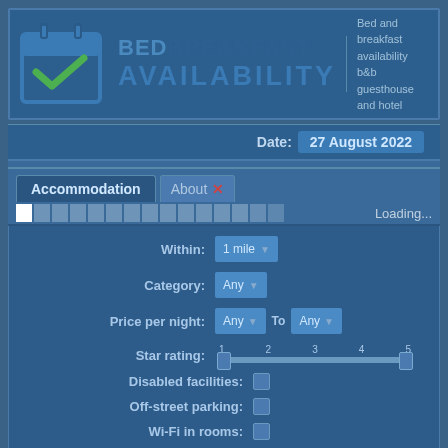[Figure (screenshot): BedBreakfast Availability website screenshot showing logo with calendar icon, date bar showing 27 August 2022, accommodation search form with fields for Within, Category, Price per night, Star rating, Disabled facilities, Off-street parking, Wi-Fi in rooms, Dogs welcome, and a loading indicator]
BEDBREAKFAST AVAILABILITY
Bed and breakfast availability b&b guesthouse and hotel
Date: 27 August 2022
Accommodation
About
Loading...
Within: 1 mile
Category: Any
Price per night: Any To Any
Star rating: 1 2 3 4 5
Disabled facilities:
Off-street parking:
Wi-Fi in rooms:
Dogs welcome: